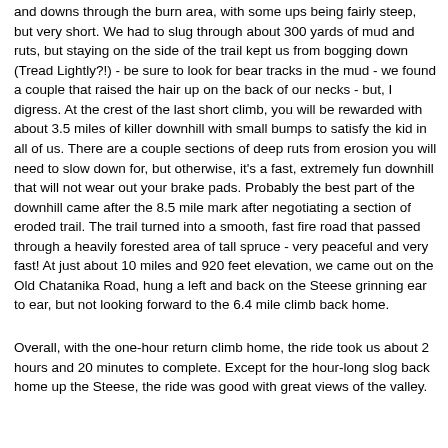and downs through the burn area, with some ups being fairly steep, but very short. We had to slug through about 300 yards of mud and ruts, but staying on the side of the trail kept us from bogging down (Tread Lightly?!) - be sure to look for bear tracks in the mud - we found a couple that raised the hair up on the back of our necks - but, I digress. At the crest of the last short climb, you will be rewarded with about 3.5 miles of killer downhill with small bumps to satisfy the kid in all of us. There are a couple sections of deep ruts from erosion you will need to slow down for, but otherwise, it's a fast, extremely fun downhill that will not wear out your brake pads. Probably the best part of the downhill came after the 8.5 mile mark after negotiating a section of eroded trail. The trail turned into a smooth, fast fire road that passed through a heavily forested area of tall spruce - very peaceful and very fast! At just about 10 miles and 920 feet elevation, we came out on the Old Chatanika Road, hung a left and back on the Steese grinning ear to ear, but not looking forward to the 6.4 mile climb back home.
Overall, with the one-hour return climb home, the ride took us about 2 hours and 20 minutes to complete. Except for the hour-long slog back home up the Steese, the ride was good with great views of the valley.